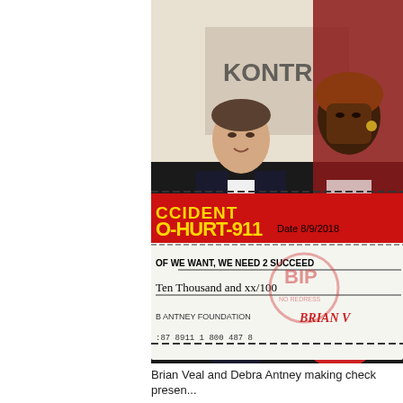[Figure (photo): Brian Veal and Debra Antney holding a large ceremonial check. The check is from 'B Antney Foundation' dated 8/9/2018, made out to 'We Want, We Need 2 Succeed' for 'Ten Thousand and xx/100'. The check features a red and yellow 'Accident O-HURT-911' header. Brian Veal is in a dark blazer on the left; Debra Antney is in a red dress on the right. Background shows event signage including 'KONTR' text.]
Brian Veal and Debra Antney making check presen...